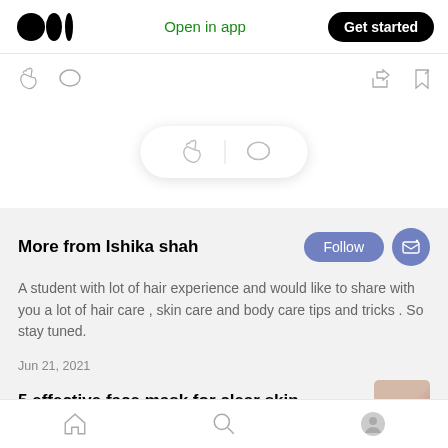Medium logo | Open in app | Get started
[Figure (screenshot): Toolbar with clap, comment, share, and bookmark icons]
[Figure (screenshot): Floating action bar with clap and comment icons]
More from Ishika shah
A student with lot of hair experience and would like to share with you a lot of hair care , skin care and body care tips and tricks . So stay tuned.
Jun 21, 2021
5 effective face mask for clear skin
Home | Search | Profile